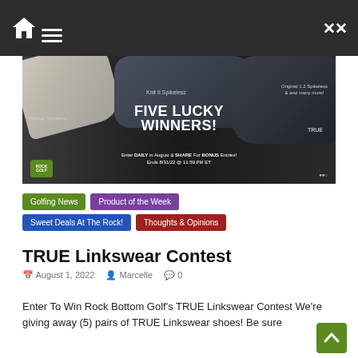Navigation bar with home icon, menu icon, shuffle icon
[Figure (photo): TRUE Linkswear Contest banner advertisement showing golf shoes (Ripstop Spikeless, Knit II Spikeless, Original 1.2 Spikeless) with text 'FIVE LUCKY WINNERS! Enter DAILY in August & SHARE For BONUS Entries! Ends 8/31/22 @ 11:59 PM ET']
Golfing News
Product of the Week
Sweet Deals At The Rock!
Thoughts & Opinions
TRUE Linkswear Contest
August 1, 2022  Marcelle  0
Enter To Win Rock Bottom Golf's TRUE Linkswear Contest We're giving away (5) pairs of TRUE Linkswear shoes! Be sure